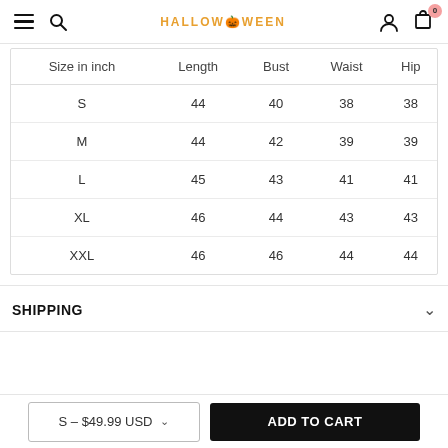Halloween store navigation bar with hamburger menu, search, brand logo, user icon, and cart (0)
| Size in inch | Length | Bust | Waist | Hip |
| --- | --- | --- | --- | --- |
| S | 44 | 40 | 38 | 38 |
| M | 44 | 42 | 39 | 39 |
| L | 45 | 43 | 41 | 41 |
| XL | 46 | 44 | 43 | 43 |
| XXL | 46 | 46 | 44 | 44 |
SHIPPING
S – $49.99 USD
ADD TO CART